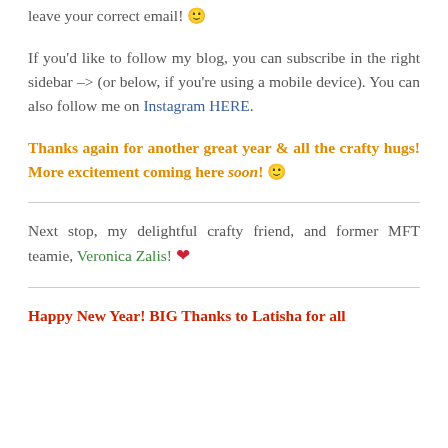leave your correct email! 🙂
If you'd like to follow my blog, you can subscribe in the right sidebar –> (or below, if you're using a mobile device). You can also follow me on Instagram HERE.
Thanks again for another great year & all the crafty hugs! More excitement coming here soon! 🙂
Next stop, my delightful crafty friend, and former MFT teamie, Veronica Zalis! ❤
Happy New Year! BIG Thanks to Latisha for all